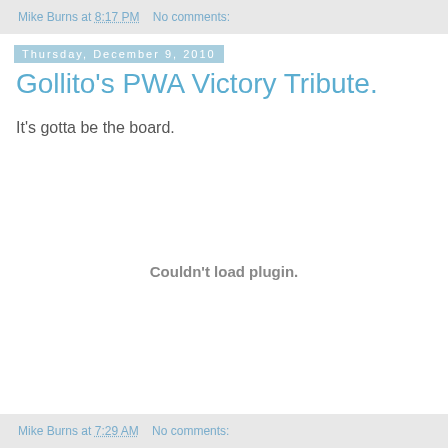Mike Burns at 8:17 PM   No comments:
Thursday, December 9, 2010
Gollito's PWA Victory Tribute.
It's gotta be the board.
[Figure (other): Embedded plugin area showing 'Couldn't load plugin.' message]
Mike Burns at 7:29 AM   No comments: